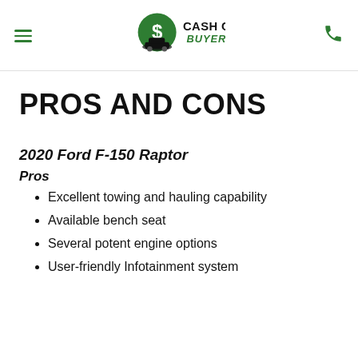Cash Cars Buyer
PROS AND CONS
2020 Ford F-150 Raptor
Pros
Excellent towing and hauling capability
Available bench seat
Several potent engine options
User-friendly Infotainment system